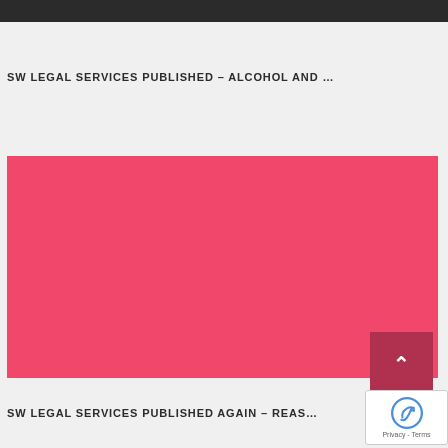SW LEGAL SERVICES PUBLISHED – ALCOHOL AND …
[Figure (illustration): Large solid pink/coral colored rectangular block, serving as a featured image placeholder for a legal services blog post.]
SW LEGAL SERVICES PUBLISHED AGAIN – REAS…